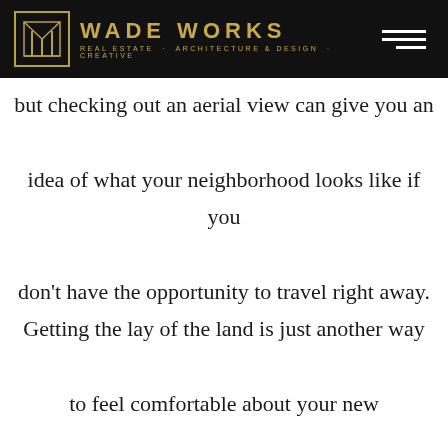WADE WORKS — REAL ESTATE · ARCHITECTURE & DESIGN · CREATIVE
but checking out an aerial view can give you an idea of what your neighborhood looks like if you don't have the opportunity to travel right away. Getting the lay of the land is just another way to feel comfortable about your new neighborhood.
3. Have a Travel Budget
Even if you have a great agent showing you as